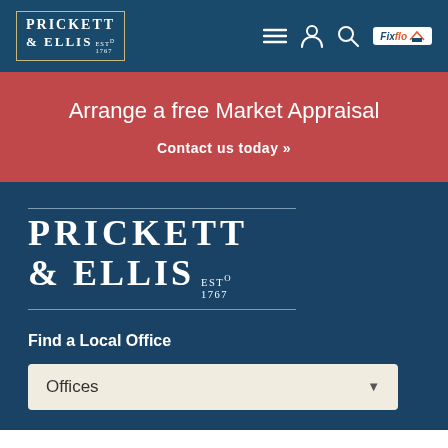Prickett & Ellis Est. 1767 — Navigation bar with menu, account, search, and Fixflo icons
Arrange a free Market Appraisal
Contact us today »
[Figure (logo): Large Prickett & Ellis Est. 1767 logo in white on dark blue background, framed by horizontal rules]
Find a Local Office
Offices